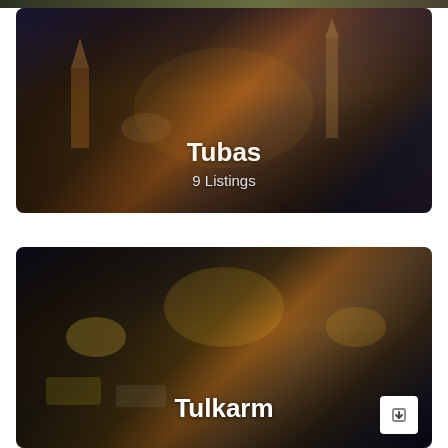[Figure (photo): Partial top strip of a city photo, cropped at top of page]
[Figure (photo): Night cityscape of Tubas showing illuminated buildings, churches and minarets with warm golden lighting]
Tubas
9 Listings
[Figure (photo): Night street scene of Tulkarm showing a busy street with car lights, crowds of people, and illuminated storefronts]
Tulkarm